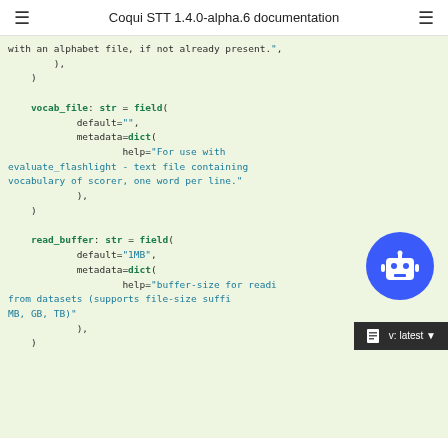Coqui STT 1.4.0-alpha.6 documentation
with an alphabet file, if not already present.",
        ),
    )

    vocab_file: str = field(
            default="",
            metadata=dict(
                    help="For use with evaluate_flashlight - text file containing vocabulary of scorer, one word per line."
            ),
    )

    read_buffer: str = field(
            default="1MB",
            metadata=dict(
                    help="buffer-size for reading from datasets (supports file-size suffi... MB, GB, TB)"
            ),
    )